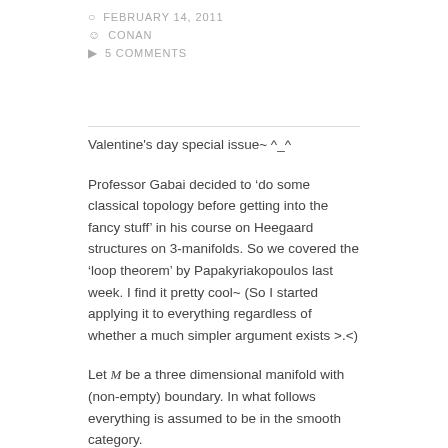FEBRUARY 14, 2011
CONAN
5 COMMENTS
Valentine's day special issue~ ^_^
Professor Gabai decided to ‘do some classical topology before getting into the fancy stuff’ in his course on Heegaard structures on 3-manifolds. So we covered the ‘loop theorem’ by Papakyriakopoulos last week. I find it pretty cool~ (So I started applying it to everything regardless of whether a much simpler argument exists >.<)
Let M be a three dimensional manifold with (non-empty) boundary. In what follows everything is assumed to be in the smooth category.